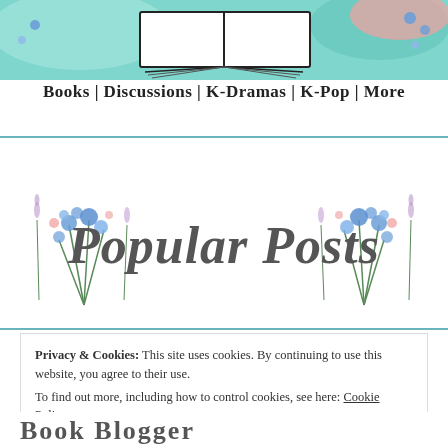[Figure (illustration): Blog header with an open book illustration on a teal/mint background with floral decorations and pink accents]
Books | Discussions | K-Dramas | K-Pop | More
[Figure (illustration): Popular Posts decorative banner with cursive/script text 'Popular Posts' flanked by blue and pink floral bouquet illustrations on white background]
Privacy & Cookies: This site uses cookies. By continuing to use this website, you agree to their use.
To find out more, including how to control cookies, see here: Cookie Policy
Close and accept
Book Blogger